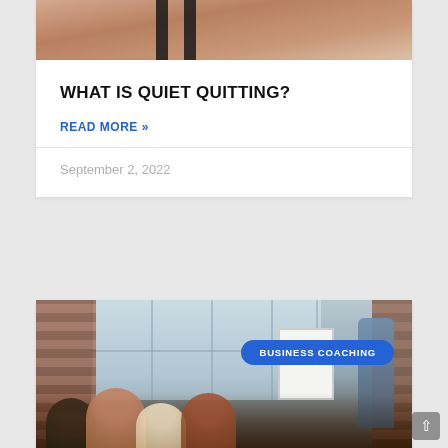[Figure (photo): Partial view of a woman's torso and face (hands raised), wearing a black tank top strap, on a light background — top portion of a blog card image]
WHAT IS QUIET QUITTING?
READ MORE »
September 2, 2022
[Figure (photo): Business coaching scene: group of people seated at a table in a modern brick-walled room with large windows, a presenter standing at a whiteboard — with a blue 'BUSINESS COACHING' badge overlay]